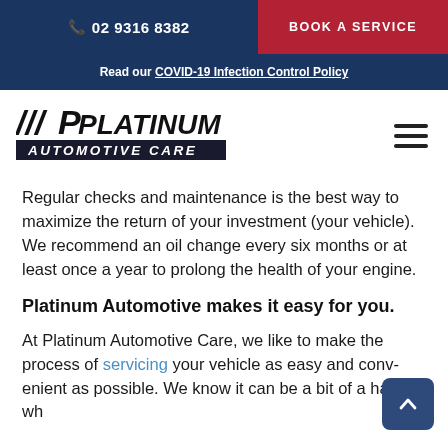02 9316 8382 | BOOK A SERVICE
Read our COVID-19 Infection Control Policy
[Figure (logo): Platinum Automotive Care logo with stylized P mark and company name]
Regular checks and maintenance is the best way to maximize the return of your investment (your vehicle). We recommend an oil change every six months or at least once a year to prolong the health of your engine.
Platinum Automotive makes it easy for you.
At Platinum Automotive Care, we like to make the process of servicing your vehicle as easy and convenient as possible. We know it can be a bit of a hassle wh...